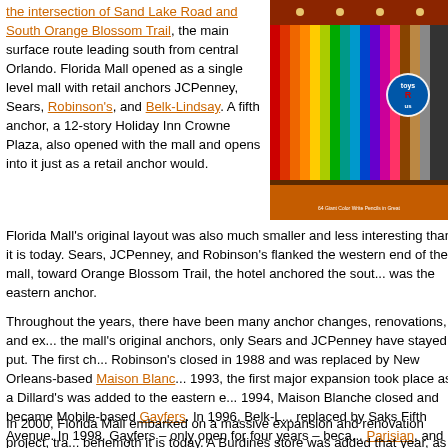the intersection of Sand Lake Road and South Orange Blossom Trail, the main surface route leading south from central Orlando. Florida Mall opened as a single level mall with retail anchors JCPenney, Sears, Robinson's, and Belk-Lindsay. A fifth anchor, a 12-story Holiday Inn Crowne Plaza, also opened with the mall and opens into it just as a retail anchor would.
[Figure (photo): Interior photo of a Toys R Us store showing colorful merchandise displays with crayon-like columns and orange ceiling.]
Florida Mall's original layout was also much smaller and less interesting than it is today. Sears, JCPenney, and Robinson's flanked the western end of the mall, toward Orange Blossom Trail, the hotel anchored the south, and was the eastern anchor.
Throughout the years, there have been many anchor changes, renovations, and expansions. Of the mall's original anchors, only Sears and JCPenney have stayed put. The first change came when Robinson's closed in 1988 and was replaced by New Orleans-based Maison Blanche. In 1993, the first major expansion took place as a Dillard's was added to the eastern end. Then in 1994, Maison Blanche closed and became Mobile-based Gayfers. In 1996, Belk-Lindsay was replaced by Saks Fifth Avenue. In 1998, Gayfers – only open for four years – became Parisian, and JCPenney renovated and expanded its store.
In 2000, Florida Mall embarked on a massive expansion and renovation project, transforming it into the behemoth it is today. A Burdines store was added that year, as well as a V-shaped...